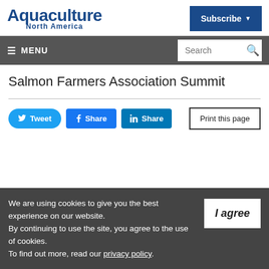Aquaculture North America
Salmon Farmers Association Summit
Tweet | Share | Share | Print this page
We are using cookies to give you the best experience on our website. By continuing to use the site, you agree to the use of cookies. To find out more, read our privacy policy.